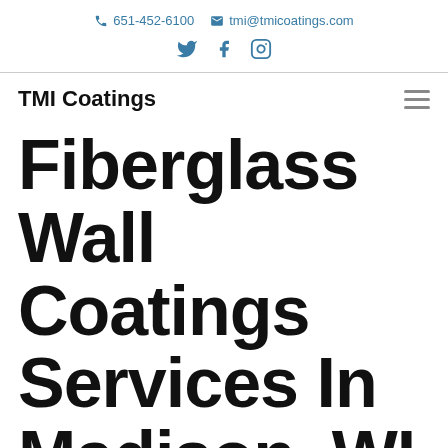651-452-6100  tmi@tmicoatings.com
[Figure (other): Social media icons: Twitter, Facebook, Instagram]
TMI Coatings
Fiberglass Wall Coatings Services In Madison, WI